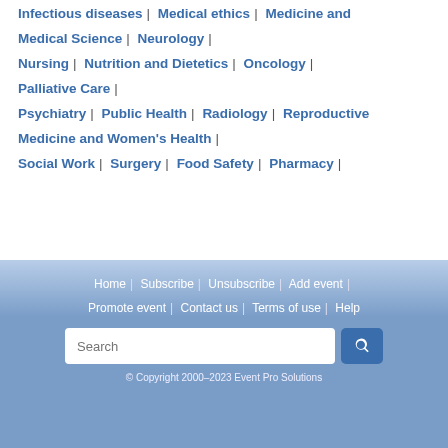Infectious diseases | Medical ethics | Medicine and Medical Science | Neurology |
Nursing | Nutrition and Dietetics | Oncology | Palliative Care |
Psychiatry | Public Health | Radiology | Reproductive Medicine and Women's Health |
Social Work | Surgery | Food Safety | Pharmacy |
Home | Subscribe | Unsubscribe | Add event | Promote event | Contact us | Terms of use | Help